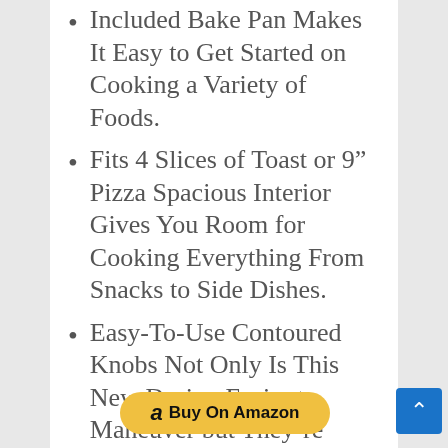Included Bake Pan Makes It Easy to Get Started on Cooking a Variety of Foods.
Fits 4 Slices of Toast or 9" Pizza Spacious Interior Gives You Room for Cooking Everything From Snacks to Side Dishes.
Easy-To-Use Contoured Knobs Not Only Is This New Design Easier to Maneuver but They're Safer Too.